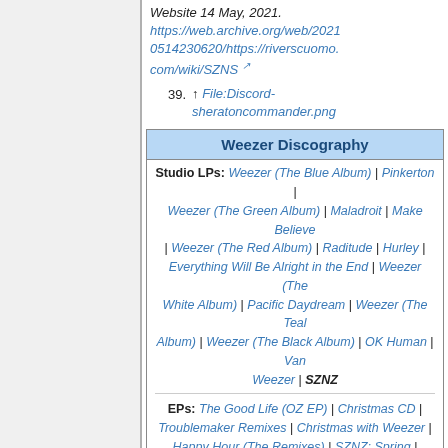Website 14 May, 2021. https://web.archive.org/web/20210514230620/https://riverscuomo.com/wiki/SZNS
39. ↑ File:Discord-sheratoncommander.png
| Weezer Discography |
| --- |
| Studio LPs: Weezer (The Blue Album) | Pinkerton | Weezer (The Green Album) | Maladroit | Make Believe | Weezer (The Red Album) | Raditude | Hurley | Everything Will Be Alright in the End | Weezer (The White Album) | Pacific Daydream | Weezer (The Teal Album) | Weezer (The Black Album) | OK Human | Van Weezer | SZNZ |
| EPs: The Good Life (OZ EP) | Christmas CD | Troublemaker Remixes | Christmas with Weezer | Happy Hour (The Remixes) | SZNZ: Spring | SZNZ: Summer | SZNZ: Autumn | SZNZ: Winter |
| Live Albums: Lion and the Witch | Raditude... Happy Record Store Day! | Spotify Sessions | Official Bootleg series |
| Compilation Albums: | Dusty Gems & Raw Nuggets | Death to False Metal |
| Other: List of Weezer singles | List of Weezer songs | |